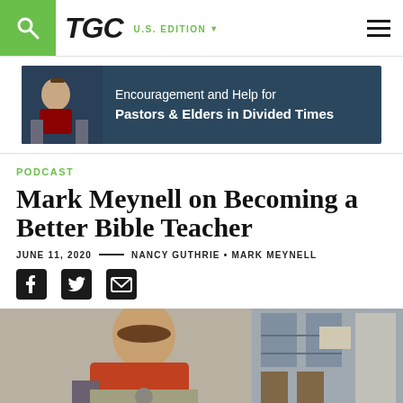TGC U.S. EDITION
[Figure (photo): Advertisement banner: Encouragement and Help for Pastors & Elders in Divided Times, dark blue background with a person's photo]
PODCAST
Mark Meynell on Becoming a Better Bible Teacher
JUNE 11, 2020 — NANCY GUTHRIE • MARK MEYNELL
[Figure (illustration): Social share icons: Facebook, Twitter, Email]
[Figure (photo): Photo of a man with glasses and curly hair wearing an orange sweater, speaking into a microphone in a home studio setting]